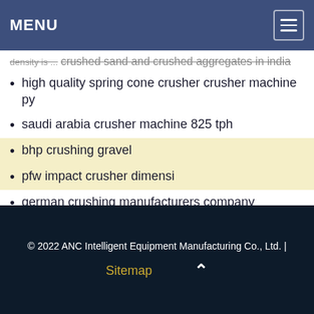MENU
crushed sand and crushed aggregates in india density is ...
high quality spring cone crusher crusher machine py
saudi arabia crusher machine 825 tph
bhp crushing gravel
pfw impact crusher dimensi
german crushing manufacturers company
china 45 tph impact crusher
© 2022 ANC Intelligent Equipment Manufacturing Co., Ltd. | Sitemap